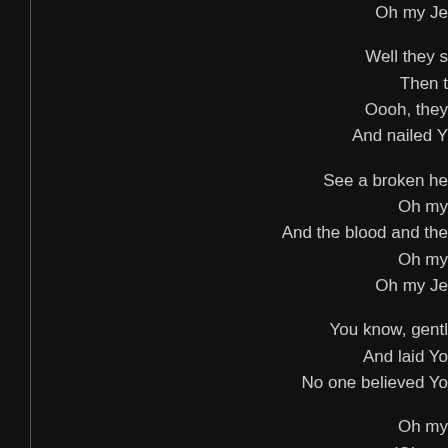Oh my Je
Well they s
Then t
Oooh, they
And nailed Y
See a broken he
Oh my
And the blood and the
Oh my
Oh my Je
You know, gentl
And laid Yo
No one believed Yo
Oh my
(Oh my
Oh my
(Oh my
Oh my
(Oh my